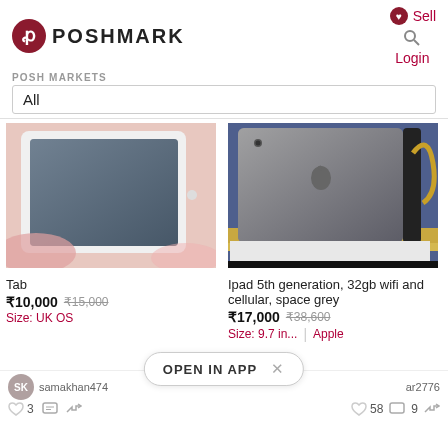POSHMARK
Sell
Login
POSH MARKETS
All
[Figure (photo): Photo of a tablet (iPad-like device) with a dark screen, placed on pink fabric/clothing]
Tab
₹10,000  ₹15,000
Size: UK OS
[Figure (photo): Photo of an iPad 5th generation in space grey, shown from the back with Apple logo visible, with charging cable, in box]
Ipad 5th generation, 32gb wifi and cellular, space grey
₹17,000  ₹38,600
Size: 9.7 in...  Apple
OPEN IN APP
samakhan474
ar2776
3
58
9